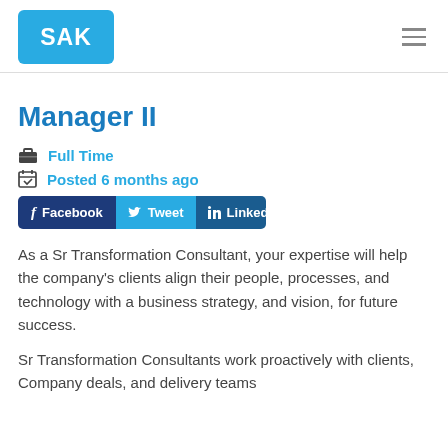[Figure (logo): SAK logo — blue rounded rectangle with white text 'SAK']
Manager II
Full Time
Posted 6 months ago
[Figure (infographic): Social share buttons: Facebook, Tweet, LinkedIn]
As a Sr Transformation Consultant, your expertise will help the company's clients align their people, processes, and technology with a business strategy, and vision, for future success.
Sr Transformation Consultants work proactively with clients, Company deals, and delivery teams